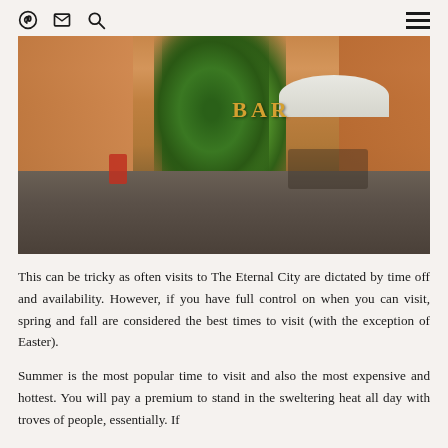Pinterest | Mail | Search | Menu
[Figure (photo): Street scene in Rome (Trastevere neighborhood) showing a cobblestone piazza with orange/ochre colored buildings, a bar with green ivy-covered facade, people sitting at outdoor tables under a white umbrella, and a red scooter parked in the background.]
This can be tricky as often visits to The Eternal City are dictated by time off and availability. However, if you have full control on when you can visit, spring and fall are considered the best times to visit (with the exception of Easter).
Summer is the most popular time to visit and also the most expensive and hottest. You will pay a premium to stand in the sweltering heat all day with troves of people, essentially. If